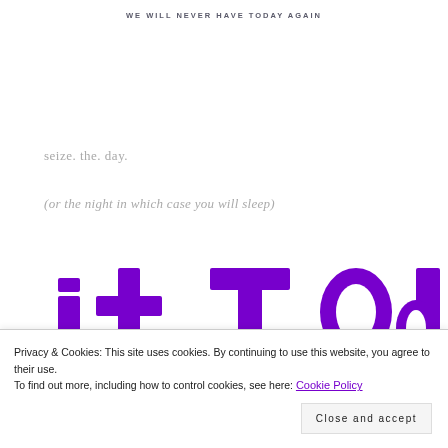WE WILL NEVER HAVE TODAY AGAIN
seize. the. day.
(or the night in which case you will sleep)
[Figure (illustration): Large decorative purple/violet text or lettering partially visible at the bottom of the page, cropped]
Privacy & Cookies: This site uses cookies. By continuing to use this website, you agree to their use.
To find out more, including how to control cookies, see here: Cookie Policy
Close and accept